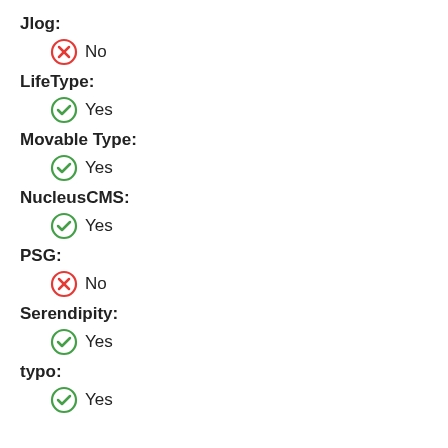Jlog:
No
LifeType:
Yes
Movable Type:
Yes
NucleusCMS:
Yes
PSG:
No
Serendipity:
Yes
typo:
Yes